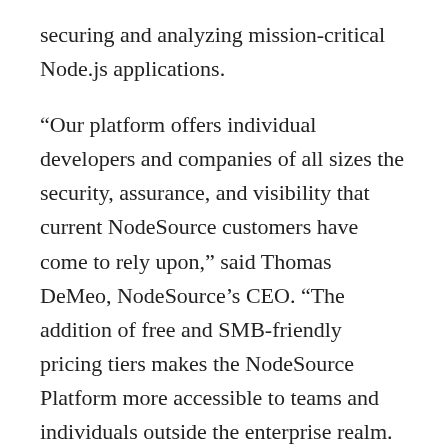securing and analyzing mission-critical Node.js applications.
“Our platform offers individual developers and companies of all sizes the security, assurance, and visibility that current NodeSource customers have come to rely upon,” said Thomas DeMeo, NodeSource’s CEO. “The addition of free and SMB-friendly pricing tiers makes the NodeSource Platform more accessible to teams and individuals outside the enterprise realm. This release exposes NodeSource’s platform to the 80 percent of the Node.js user base who work at